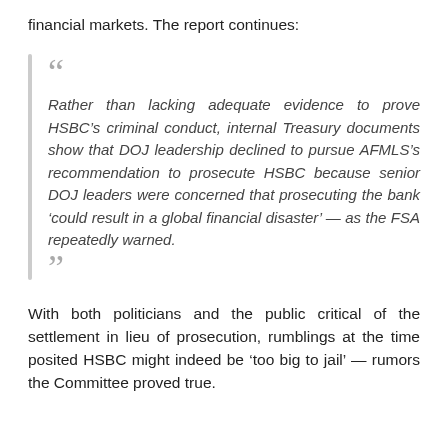financial markets. The report continues:
Rather than lacking adequate evidence to prove HSBC’s criminal conduct, internal Treasury documents show that DOJ leadership declined to pursue AFMLS’s recommendation to prosecute HSBC because senior DOJ leaders were concerned that prosecuting the bank ‘could result in a global financial disaster’ — as the FSA repeatedly warned.
With both politicians and the public critical of the settlement in lieu of prosecution, rumblings at the time posited HSBC might indeed be ‘too big to jail’ — rumors the Committee proved true.